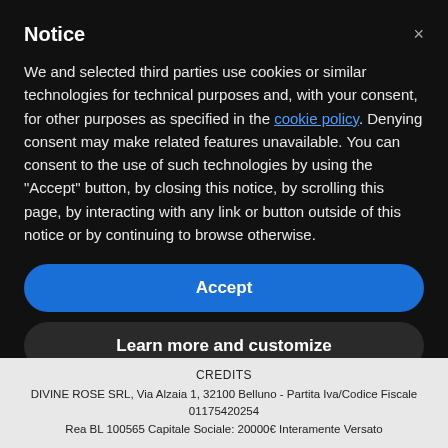Notice
We and selected third parties use cookies or similar technologies for technical purposes and, with your consent, for other purposes as specified in the cookie policy. Denying consent may make related features unavailable. You can consent to the use of such technologies by using the "Accept" button, by closing this notice, by scrolling this page, by interacting with any link or button outside of this notice or by continuing to browse otherwise.
Accept
Learn more and customize
CREDITS
DIVINE ROSE SRL, Via Alzaia 1, 32100 Belluno - Partita Iva/Codice Fiscale 01175420254
Rea BL 100565 Capitale Sociale: 20000€ Interamente Versato